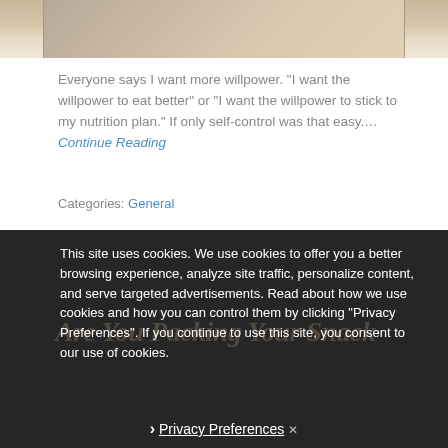[Figure (photo): Partial view of a woman holding a burger wrapped in a measuring tape, cropped at the top of the page]
Everyone says I want more willpower. “I want the willpower to eat better” or “I want the willpower to stick to my nutrition plan.” If only self-control was that easy.... Continue Reading
Categories: General
This site uses cookies. We use cookies to offer you a better browsing experience, analyze site traffic, personalize content, and serve targeted advertisements. Read about how we use cookies and how you can control them by clicking "Privacy Preferences". If you continue to use this site, you consent to our use of cookies.
Are You Packing Your Snack
Privacy Preferences